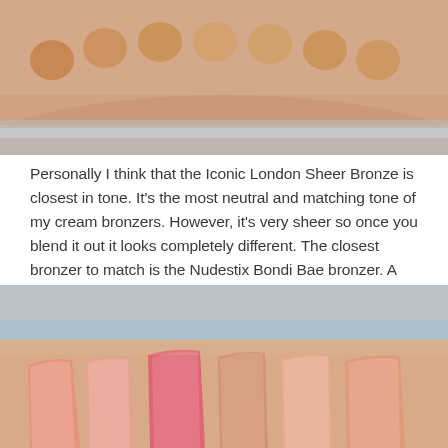[Figure (photo): Close-up photograph of an arm with multiple circular swatches of bronzer/foundation products in various tan and beige shades arranged in a curved line across the skin.]
Personally I think that the Iconic London Sheer Bronze is closest in tone. It's the most neutral and matching tone of my cream bronzers. However, it's very sheer so once you blend it out it looks completely different. The closest bronzer to match is the Nudestix Bondi Bae bronzer. A little warmer in tone but other than that, almost identical in colour.
[Figure (photo): Close-up photograph of an arm showing six blush/bronzer swatches in shades ranging from peach to coral to pink, applied in elongated blended strokes across the skin.]